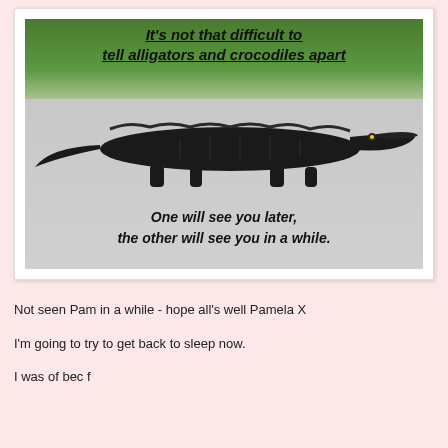[Figure (photo): Meme image showing an alligator walking across a road with grass in the background. Top text reads 'It's not that difficult to tell alligators and crocodiles apart' and bottom text reads 'One will see you later, the other will see you in a while.']
Not seen Pam in a while - hope all's well Pamela X
I'm going to try to get back to sleep now.
I was of bec f